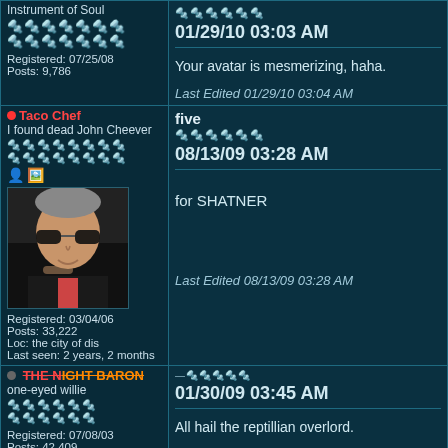Instrument of Soul
Registered: 07/25/08
Posts: 9,786
01/29/10 03:03 AM
Your avatar is mesmerizing, haha.
Last Edited 01/29/10 03:04 AM
Taco Chef
I found dead John Cheever
Registered: 03/04/06
Posts: 33,222
Loc: the city of dis
Last seen: 2 years, 2 months
five
08/13/09 03:28 AM
for SHATNER
Last Edited 08/13/09 03:28 AM
THE NIGHT BARON
one-eyed willie
Registered: 07/08/03
Posts: 42,409
01/30/09 03:45 AM
All hail the reptillian overlord.
magikgrl
42